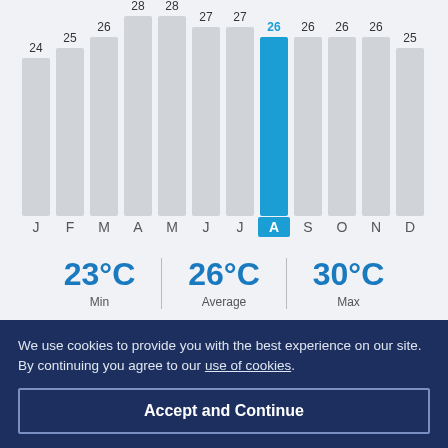[Figure (bar-chart): Monthly average temperature (°C)]
23°C Min | 26°C Average | 30°C Max
We use cookies to provide you with the best experience on our site. By continuing you agree to our use of cookies.
Accept and Continue